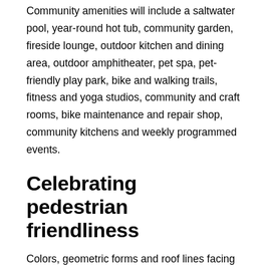Community amenities will include a saltwater pool, year-round hot tub, community garden, fireside lounge, outdoor kitchen and dining area, outdoor amphitheater, pet spa, pet-friendly play park, bike and walking trails, fitness and yoga studios, community and craft rooms, bike maintenance and repair shop, community kitchens and weekly programmed events.
Celebrating pedestrian friendliness
Colors, geometric forms and roof lines facing the train tracks convey a sense of movement and help break up the structure's massing. “The ground-floor retail activates the street, and there are also several distinct and elegant interior and exterior gathering spaces where residents can engage and connect while enjoying the panoramic mountain views,”